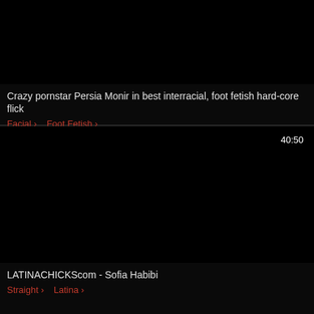[Figure (screenshot): Black thumbnail for first video card]
Crazy pornstar Persia Monir in best interracial, foot fetish hard-core flick
Facial >  Foot Fetish >
[Figure (screenshot): Black thumbnail for second video card with duration badge 40:50]
LATINACHICKScom - Sofia Habibi
Straight >  Latina >